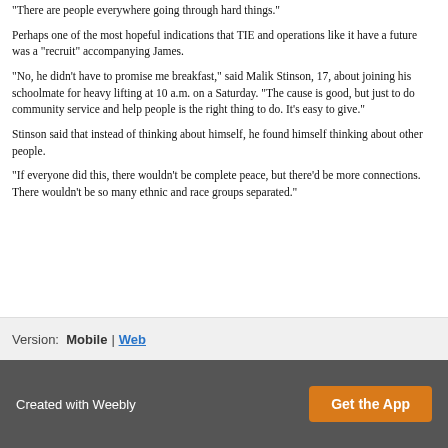"There are people everywhere going through hard things."
Perhaps one of the most hopeful indications that TIE and operations like it have a future was a "recruit" accompanying James.
"No, he didn't have to promise me breakfast," said Malik Stinson, 17, about joining his schoolmate for heavy lifting at 10 a.m. on a Saturday. "The cause is good, but just to do community service and help people is the right thing to do. It's easy to give."
Stinson said that instead of thinking about himself, he found himself thinking about other people.
"If everyone did this, there wouldn't be complete peace, but there'd be more connections. There wouldn't be so many ethnic and race groups separated."
Version:  Mobile  |  Web
Created with Weebly   Get the App